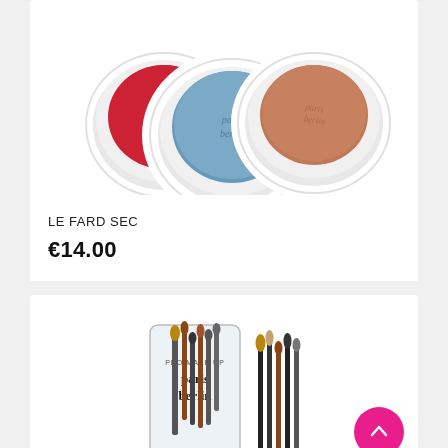[Figure (photo): Three round powder compact makeup pans with white rims, in red, blue, and terracotta/brown colors, with 'paris berlin' text embossed on the blue one. Shown from above on white background.]
LE FARD SEC
€14.00
[Figure (photo): Paris Berlin branded makeup brush set in a clear cylindrical container with black text logo, alongside several professional makeup brushes. Back-to-top arrow button (pink circle with white up arrow) in the bottom right corner.]